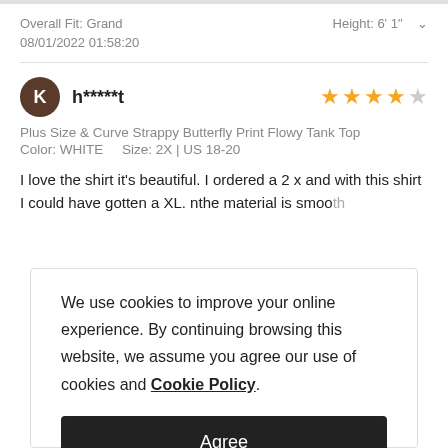Overall Fit: Grand    Height: 6' 1"
08/01/2022 01:58:20
h*****t
Plus Size & Curve Strappy Butterfly Print Flowy Tank Top
Color: WHITE    Size: 2X | US 18-20
I love the shirt it's beautiful. I ordered a 2 x and with this shirt I could have gotten a XL. nthe material is smooth
We use cookies to improve your online experience. By continuing browsing this website, we assume you agree our use of cookies and Cookie Policy.
Agree